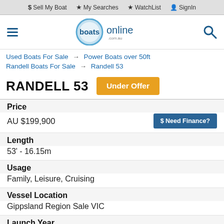$ Sell My Boat  ★ My Searches  ★ WatchList  👤 SignIn
[Figure (logo): Boats Online logo with hamburger menu and search icon]
Used Boats For Sale → Power Boats over 50ft
Randell Boats For Sale → Randell 53
RANDELL 53  Under Offer
Price
AU $199,900
$ Need Finance?
Length
53' - 16.15m
Usage
Family, Leisure, Cruising
Vessel Location
Gippsland Region Sale VIC
Launch Year